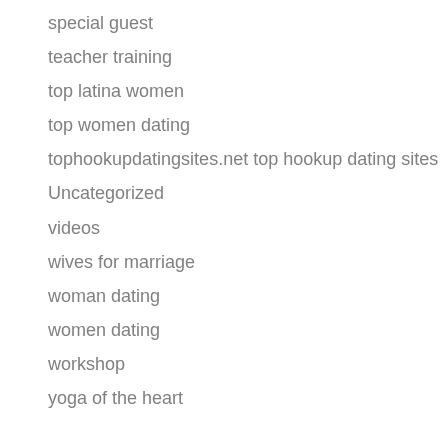special guest
teacher training
top latina women
top women dating
tophookupdatingsites.net top hookup dating sites
Uncategorized
videos
wives for marriage
woman dating
women dating
workshop
yoga of the heart